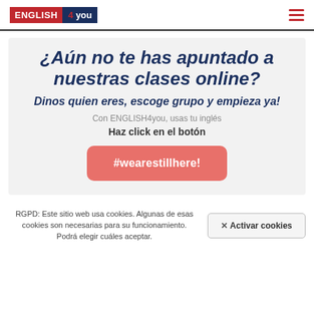[Figure (logo): ENGLISH 4you logo — red background 'ENGLISH', dark navy '4you' with red '4']
¿Aún no te has apuntado a nuestras clases online?
Dinos quien eres, escoge grupo y empieza ya!
Con ENGLISH4you, usas tu inglés
Haz click en el botón
#wearestillhere!
RGPD: Este sitio web usa cookies. Algunas de esas cookies son necesarias para su funcionamiento. Podrá elegir cuáles aceptar.
✕ Activar cookies